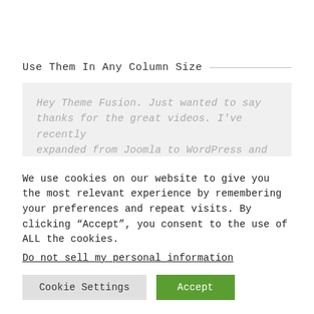Use Them In Any Column Size
Hey Theme Fusion. Just wanted to say thanks for the great videos. I've recently expanded from Joomla to WordPress and am using your Avada theme. These videos have been a huge help in learning my way
We use cookies on our website to give you the most relevant experience by remembering your preferences and repeat visits. By clicking "Accept", you consent to the use of ALL the cookies.
Do not sell my personal information
Cookie Settings  Accept